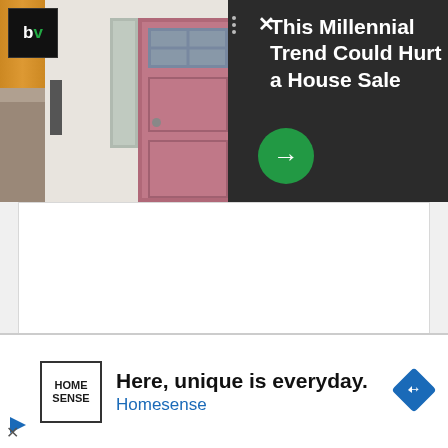[Figure (screenshot): Advertisement banner showing a house with pink front door, bv logo, three dots, X close button, and dark panel with text 'This Millennial Trend Could Hurt a House Sale' and green arrow button]
This Millennial Trend Could Hurt a House Sale
[Figure (screenshot): White content area placeholder below the ad banner]
[Figure (advertisement): Bottom advertisement strip with Homesense logo, text 'Here, unique is everyday. Homesense', and blue diamond navigation icon]
Here, unique is everyday.
Homesense